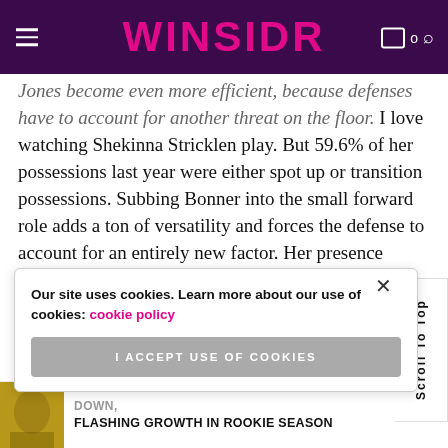WINSIDR
Jones become even more efficient, because defenses have to account for another threat on the floor. I love watching Shekinna Stricklen play. But 59.6% of her possessions last year were either spot up or transition possessions. Subbing Bonner into the small forward role adds a ton of versatility and forces the defense to account for an entirely new factor. Her presence should help open up passing lanes and make plays like ... Curt Miller's
Our site uses cookies. Learn more about our use of cookies: cookie policy
I ACCEPT USE OF COOKIES
Scroll To Top
DOWN, FLASHING GROWTH IN ROOKIE SEASON